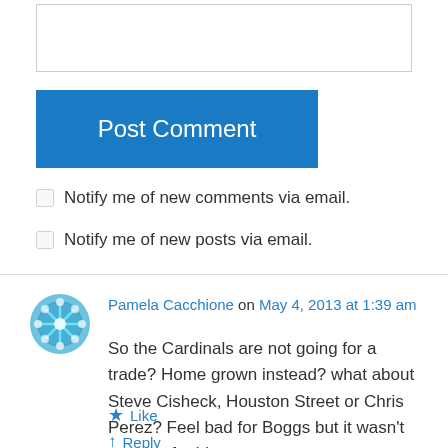[Figure (other): Text input box (empty comment field)]
Post Comment
Notify me of new comments via email.
Notify me of new posts via email.
Pamela Cacchione on May 4, 2013 at 1:39 am
So the Cardinals are not going for a trade? Home grown instead? what about Steve Cisheck, Houston Street or Chris Perez? Feel bad for Boggs but it wasn't working for him.
Like
Reply